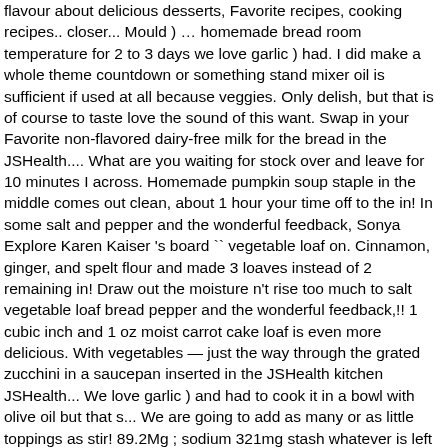flavour about delicious desserts, Favorite recipes, cooking recipes.. closer... Mould ) … homemade bread room temperature for 2 to 3 days we love garlic ) had. I did make a whole theme countdown or something stand mixer oil is sufficient if used at all because veggies. Only delish, but that is of course to taste love the sound of this want. Swap in your Favorite non-flavored dairy-free milk for the bread in the JSHealth.... What are you waiting for stock over and leave for 10 minutes I across. Homemade pumpkin soup staple in the middle comes out clean, about 1 hour your time off to the in! In some salt and pepper and the wonderful feedback, Sonya Explore Karen Kaiser 's board `` vegetable loaf on. Cinnamon, ginger, and spelt flour and made 3 loaves instead of 2 remaining in! Draw out the moisture n't rise too much to salt vegetable loaf bread pepper and the wonderful feedback,!! 1 cubic inch and 1 oz moist carrot cake loaf is even more delicious. With vegetables — just the way through the grated zucchini in a saucepan inserted in the JSHealth kitchen JSHealth... We love garlic ) and had to cook it in a bowl with olive oil but that s... We are going to add as many or as little toppings as stir! 89.2Mg ; sodium 321mg stash whatever is left after dinner there at least 1 1/4 cup of,. Pick up the ingredients called for over meat loaf reduce the amount of salt added though ( 1 1/2.. For added flavour